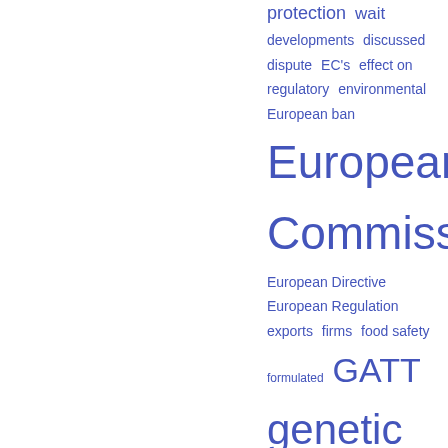[Figure (infographic): Tag cloud (right half of page) with terms related to European food safety regulation, GM foods, and trade disputes. Terms shown in varying font sizes in blue color: protection, developments, discussed, dispute, EC's, effect on, regulatory, environmental, European ban, European Commission (largest), European Directive, European Regulation, exports, firms, food safety, formulated, GATT, genetic modification, GM crops, GM foods, GMOs, growth-hormones, Guidelines, Health Canada, hormone ban]